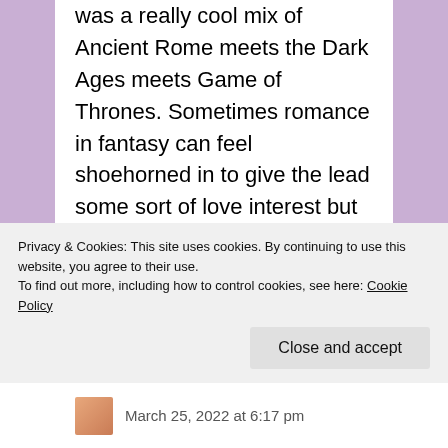was a really cool mix of Ancient Rome meets the Dark Ages meets Game of Thrones. Sometimes romance in fantasy can feel shoehorned in to give the lead some sort of love interest but that is not the case here. The main characters, Laran and Sheftu are independent characters with their own interesting backstories and motivations. There were some points where I genuinely was not sure which way their journey would end, I was on the edge of my seat! Hope you check it out! Thanks again for all the great recommendations.
Privacy & Cookies: This site uses cookies. By continuing to use this website, you agree to their use.
To find out more, including how to control cookies, see here: Cookie Policy
Close and accept
March 25, 2022 at 6:17 pm